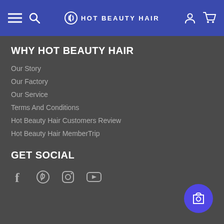HOT BEAUTY HAIR
WHY HOT BEAUTY HAIR
Our Story
Our Factory
Our Service
Terms And Conditions
Hot Beauty Hair Customers Review
Hot Beauty Hair MemberTrip
GET SOCIAL
[Figure (other): Social media icons: Facebook, Pinterest, Instagram, YouTube]